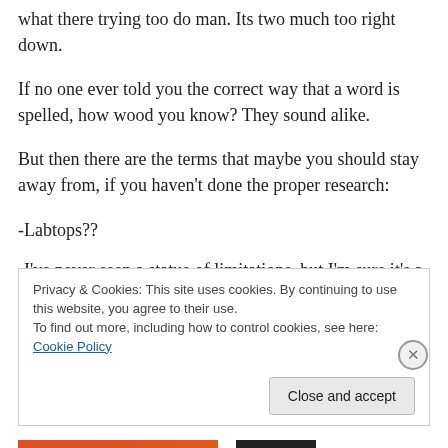what there trying too do man. Its two much too right down.
If no one ever told you the correct way that a word is spelled, how wood you know? They sound alike.
But then there are the terms that maybe you should stay away from, if you haven't done the proper research:
-Labtops??
-I've never seen a statue of limitations, but I'm sure it's a small statue compared to the statute of limitation.
Privacy & Cookies: This site uses cookies. By continuing to use this website, you agree to their use.
To find out more, including how to control cookies, see here: Cookie Policy